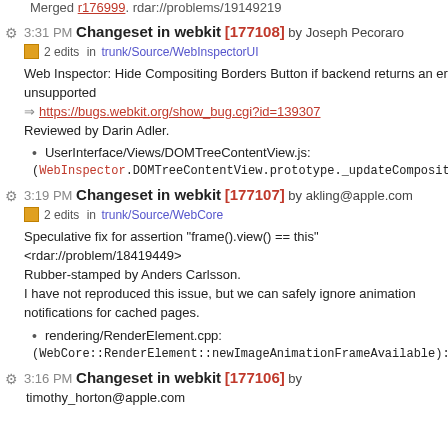Merged r176999. rdar://problems/19149219
3:31 PM Changeset in webkit [177108] by Joseph Pecoraro
2 edits in trunk/Source/WebInspectorUI
Web Inspector: Hide Compositing Borders Button if backend returns an error that it is unsupported
=> https://bugs.webkit.org/show_bug.cgi?id=139307
Reviewed by Darin Adler.
UserInterface/Views/DOMTreeContentView.js:
(WebInspector.DOMTreeContentView.prototype._updateCompositingBordersBu
3:19 PM Changeset in webkit [177107] by akling@apple.com
2 edits in trunk/Source/WebCore
Speculative fix for assertion "frame().view() == this"
<rdar://problem/18419449>
Rubber-stamped by Anders Carlsson.
I have not reproduced this issue, but we can safely ignore animation notifications for cached pages.
rendering/RenderElement.cpp:
(WebCore::RenderElement::newImageAnimationFrameAvailable):
3:16 PM Changeset in webkit [177106] by timothy_horton@apple.com